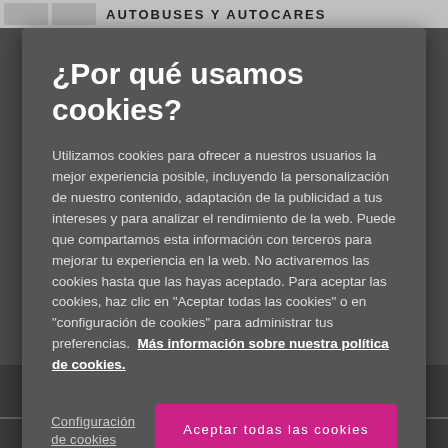AUTOBUSES Y AUTOCARES
¿Por qué usamos cookies?
Utilizamos cookies para ofrecer a nuestros usuarios la mejor experiencia posible, incluyendo la personalización de nuestro contenido, adaptación de la publicidad a tus intereses y para analizar el rendimiento de la web. Puede que compartamos esta información con terceros para mejorar tu experiencia en la web. No activaremos las cookies hasta que las hayas aceptado. Para aceptar las cookies, haz clic en "Aceptar todas las cookies" o en "configuración de cookies" para administrar tus preferencias. Más información sobre nuestra política de cookies.
Configuración de cookies
Aceptar todas las cookies
VisitScotland para empresas
Comentarios y quejas
Reuniones y conferencias